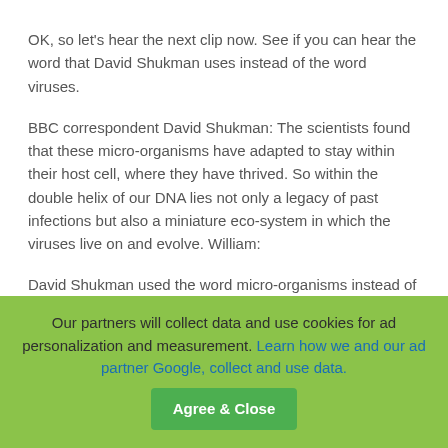OK, so let's hear the next clip now. See if you can hear the word that David Shukman uses instead of the word viruses.
BBC correspondent David Shukman: The scientists found that these micro-organisms have adapted to stay within their host cell, where they have thrived. So within the double helix of our DNA lies not only a legacy of past infections but also a miniature eco-system in which the viruses live on and evolve. William:
David Shukman used the word micro-organisms instead of the word viruses. A micro-organism is a very very small creature.
Helen:
He said the scientists found that the micro-organisms had thrived, meaning they had prospered, they had developed
Our partners will collect data and use cookies for ad personalization and measurement. Learn how we and our ad partner Google, collect and use data.